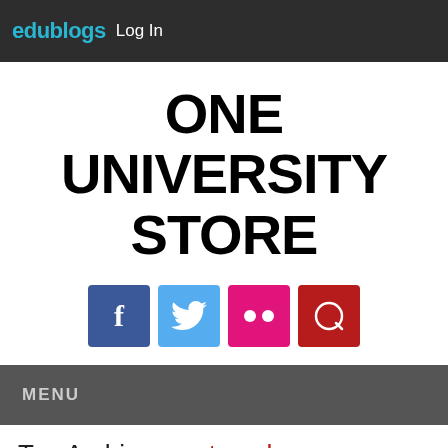edublogs Log In
ONE UNIVERSITY STORE
[Figure (infographic): Social media icon buttons: Facebook (blue), Twitter (cyan), Flickr (pink), Search (dark red)]
MENU
Tag Archives: outreach
[Figure (photo): Two red image blocks side by side (partially visible)]